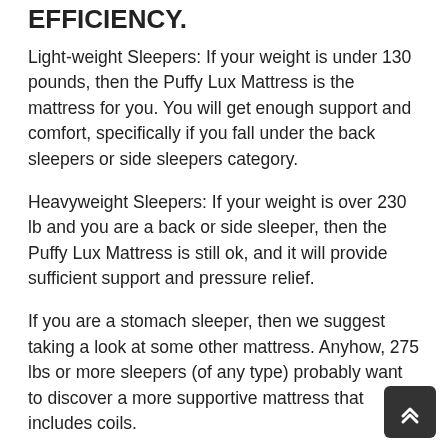EFFICIENCY.
Light-weight Sleepers: If your weight is under 130 pounds, then the Puffy Lux Mattress is the mattress for you. You will get enough support and comfort, specifically if you fall under the back sleepers or side sleepers category.
Heavyweight Sleepers: If your weight is over 230 lb and you are a back or side sleeper, then the Puffy Lux Mattress is still ok, and it will provide sufficient support and pressure relief.
If you are a stomach sleeper, then we suggest taking a look at some other mattress. Anyhow, 275 lbs or more sleepers (of any type) probably want to discover a more supportive mattress that includes coils.
The Lux mattress is designed to offer comfort and